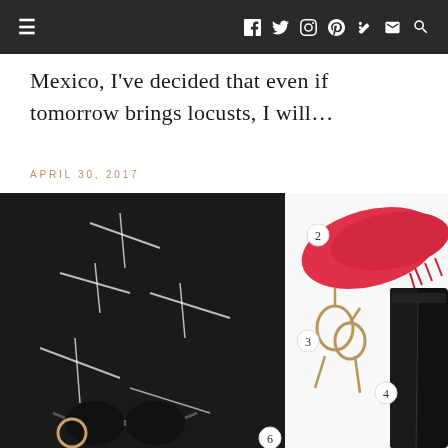≡  f  𝕏  📷  𝕡  ⌘  ✉  🔍
Mexico, I've decided that even if tomorrow brings locusts, I will...
APRIL 30, 2017
[Figure (photo): Fashion flat lay showing: (1) black top/shirt with white linear print pattern, (2) red/coral scarf with fringe, (3) gold sculptural pendant necklace, (4) black high-waisted skinny jeans, (6) black oversized sunglasses, and other accessories on white background with numbered circles indicating each item.]